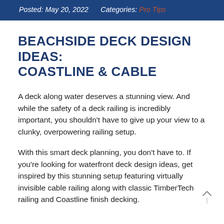Posted: May 20, 2022    Categories: Pro Tips
BEACHSIDE DECK DESIGN IDEAS: COASTLINE & CABLE
A deck along water deserves a stunning view. And while the safety of a deck railing is incredibly important, you shouldn't have to give up your view to a clunky, overpowering railing setup.
With this smart deck planning, you don't have to. If you're looking for waterfront deck design ideas, get inspired by this stunning setup featuring virtually invisible cable railing along with classic TimberTech railing and Coastline finish decking.